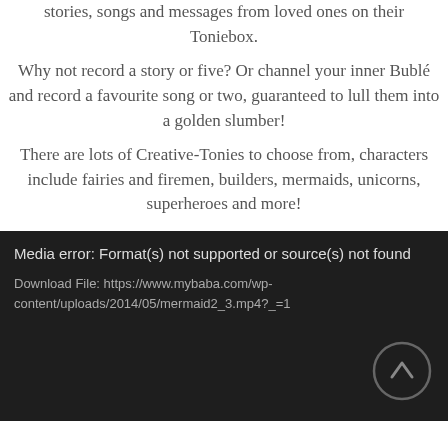stories, songs and messages from loved ones on their Toniebox.
Why not record a story or five? Or channel your inner Bublé and record a favourite song or two, guaranteed to lull them into a golden slumber!
There are lots of Creative-Tonies to choose from, characters include fairies and firemen, builders, mermaids, unicorns, superheroes and more!
[Figure (screenshot): Dark media player error box showing 'Media error: Format(s) not supported or source(s) not found' with a download file link and an upward arrow icon button.]